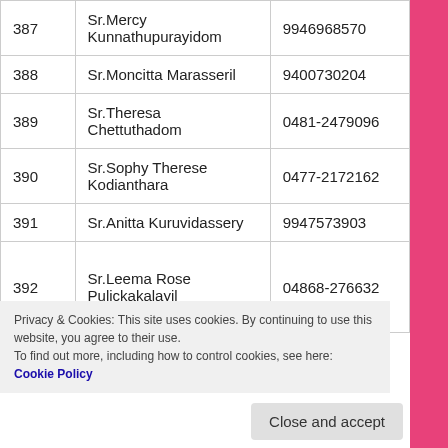| No. | Name | Phone |  |
| --- | --- | --- | --- |
| 387 | Sr.Mercy Kunnathupurayidom | 9946968570 | M |
| 388 | Sr.Moncitta Marasseril | 9400730204 | A |
| 389 | Sr.Theresa Chettuthadom | 0481-2479096 | K |
| 390 | Sr.Sophy Therese Kodianthara | 0477-2172162 | K |
| 391 | Sr.Anitta Kuruvidassery | 9947573903 | Th |
| 392 | Sr.Leema Rose Pulickakalayil | 04868-276632 | V K |
Privacy & Cookies: This site uses cookies. By continuing to use this website, you agree to their use.
To find out more, including how to control cookies, see here: Cookie Policy
Close and accept